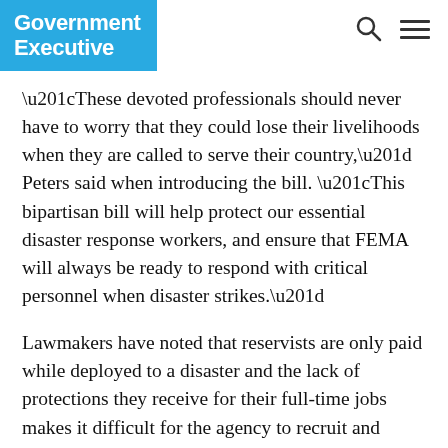Government Executive
“These devoted professionals should never have to worry that they could lose their livelihoods when they are called to serve their country,” Peters said when introducing the bill. “This bipartisan bill will help protect our essential disaster response workers, and ensure that FEMA will always be ready to respond with critical personnel when disaster strikes.”
Lawmakers have noted that reservists are only paid while deployed to a disaster and the lack of protections they receive for their full-time jobs makes it difficult for the agency to recruit and retain the temporary personnel. FEMA employs more than 12,000 reservists who have been stretched thin due to not only hurricanes and wildfires, but also FEMA’s obligations throughout the